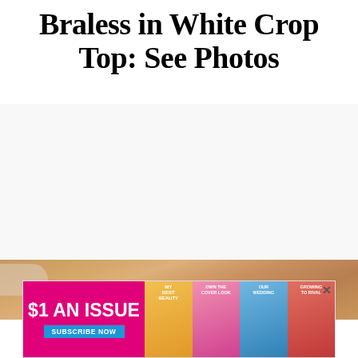Braless in White Crop Top: See Photos
[Figure (photo): Photo area showing a person, partially visible at the bottom of the frame with warm skin tones]
[Figure (infographic): Advertisement banner: $1 AN ISSUE - SUBSCRIBE NOW with Us Weekly magazine covers shown]